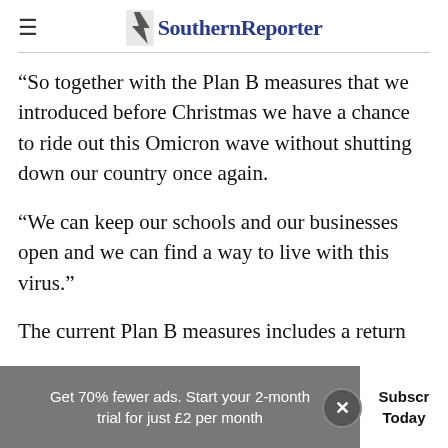Southern Reporter
“So together with the Plan B measures that we introduced before Christmas we have a chance to ride out this Omicron wave without shutting down our country once again.
“We can keep our schools and our businesses open and we can find a way to live with this virus.”
The current Plan B measures includes a return
Get 70% fewer ads. Start your 2-month trial for just £2 per month
Subscribe Today